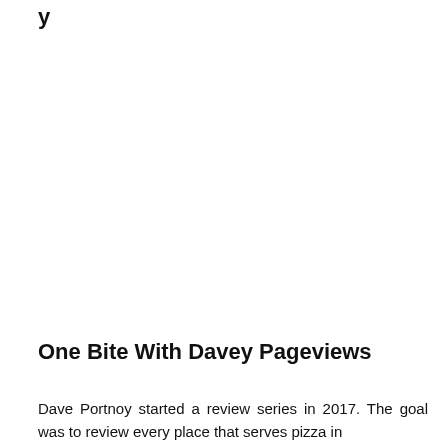y
One Bite With Davey Pageviews
Dave Portnoy started a review series in 2017. The goal was to review every place that serves pizza in